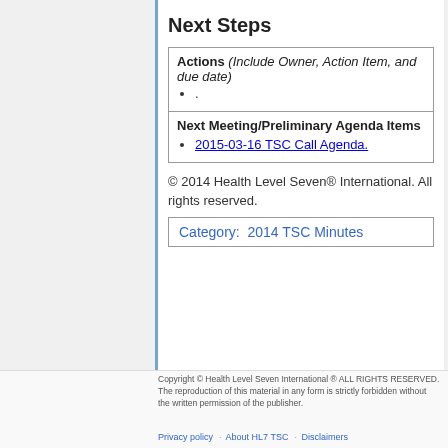Next Steps
| Actions (Include Owner, Action Item, and due date) |
| --- |
| . |
| Next Meeting/Preliminary Agenda Items |
| 2015-03-16 TSC Call Agenda. |
© 2014 Health Level Seven® International. All rights reserved.
| Category:  2014 TSC Minutes |
| --- |
Copyright © Health Level Seven International ® ALL RIGHTS RESERVED. The reproduction of this material in any form is strictly forbidden without the written permission of the publisher.
Privacy policy · About HL7 TSC · Disclaimers